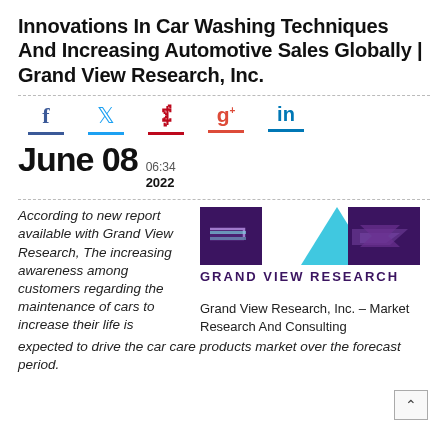Innovations In Car Washing Techniques And Increasing Automotive Sales Globally | Grand View Research, Inc.
[Figure (infographic): Social media share icons: Facebook (f), Twitter (bird), Pinterest (p), Google+ (g+), LinkedIn (in), each with colored underline]
June 08  06:34  2022
According to new report available with Grand View Research, The increasing awareness among customers regarding the maintenance of cars to increase their life is expected to drive the car care products market over the forecast period.
[Figure (logo): Grand View Research logo: three dark purple geometric shapes with a cyan triangle in the center, text GRAND VIEW RESEARCH below]
Grand View Research, Inc. – Market Research And Consulting